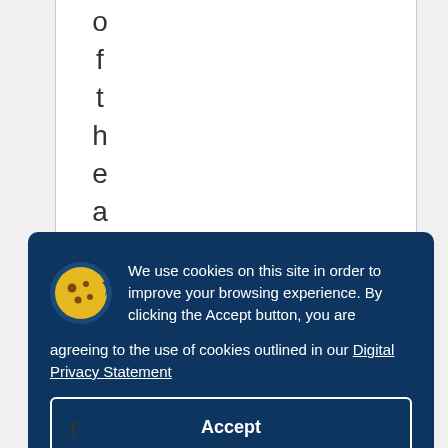o f t h e a p
We use cookies on this site in order to improve your browsing experience. By clicking the Accept button, you are agreeing to the use of cookies outlined in our Digital Privacy Statement
Accept
r